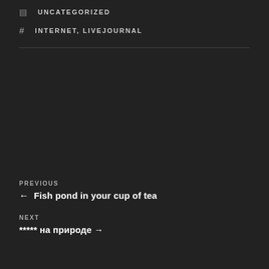UNCATEGORIZED
INTERNET, LIVEJOURNAL
PREVIOUS
← Fish pond in your cup of tea
NEXT
***** на природе →